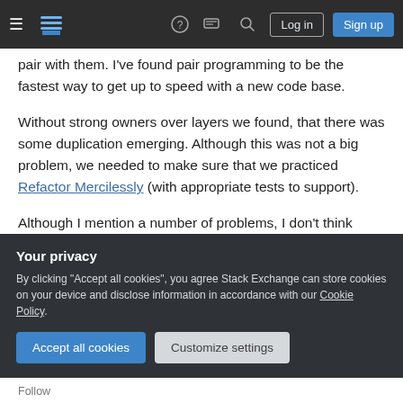Stack Exchange navigation bar with hamburger menu, logo, help, chat, search icons, Log in and Sign up buttons
pair with them. I've found pair programming to be the fastest way to get up to speed with a new code base.
Without strong owners over layers we found, that there was some duplication emerging. Although this was not a big problem, we needed to make sure that we practiced Refactor Mercilessly (with appropriate tests to support).
Although I mention a number of problems, I don't think Vertical User Stories was the cause. In fact, it
Your privacy
By clicking "Accept all cookies", you agree Stack Exchange can store cookies on your device and disclose information in accordance with our Cookie Policy.
Accept all cookies   Customize settings
Follow